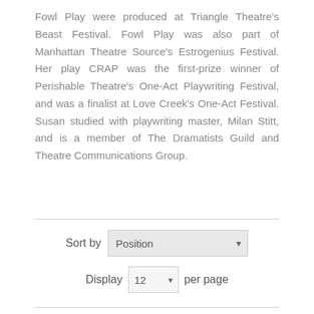Fowl Play were produced at Triangle Theatre's Beast Festival. Fowl Play was also part of Manhattan Theatre Source's Estrogenius Festival. Her play CRAP was the first-prize winner of Perishable Theatre's One-Act Playwriting Festival, and was a finalist at Love Creek's One-Act Festival. Susan studied with playwriting master, Milan Stitt, and is a member of The Dramatists Guild and Theatre Communications Group.
Sort by Position
Display 12 per page